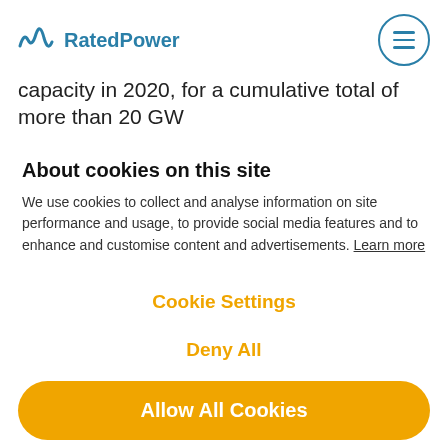RatedPower
capacity in 2020, for a cumulative total of more than 20 GW
About cookies on this site
We use cookies to collect and analyse information on site performance and usage, to provide social media features and to enhance and customise content and advertisements. Learn more
Cookie Settings
Deny All
Allow All Cookies